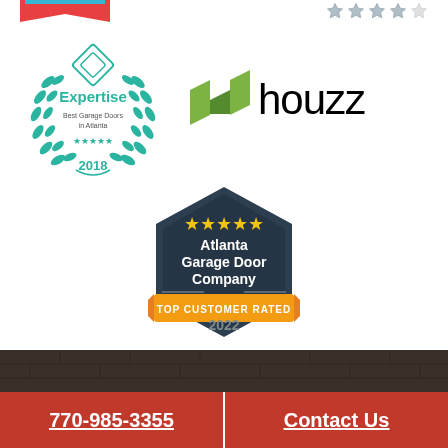[Figure (logo): Expertise badge - Best Garage Doors in Atlanta 2018, circular wreath design with teal/turquoise color scheme]
[Figure (logo): Houzz logo with green geometric house icon and 'houzz' wordmark in black]
[Figure (logo): Dark navy hexagonal badge: 5 gold stars, Atlanta Garage Door Company, TOP CUSTOMER RATED ribbon in gold/yellow, 2022]
[Figure (photo): Dark textured stone or brick background strip]
770-985-3355
Contact Us